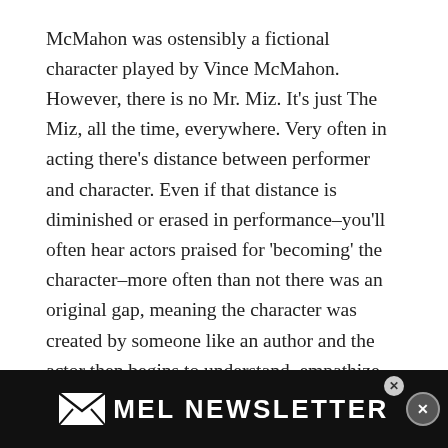McMahon was ostensibly a fictional character played by Vince McMahon. However, there is no Mr. Miz. It's just The Miz, all the time, everywhere. Very often in acting there's distance between performer and character. Even if that distance is diminished or erased in performance–you'll often hear actors praised for 'becoming' the character–more often than not there was an original gap, meaning the character was created by someone like an author and the actor then begins to understand, empathize and embody that character. However, The Miz emerged from The Miz, who is playing The Miz. It's like a Mobius strip of Miz-ness. On the other hand, what would The Miz be if he weren't The Miz? In real life if he'd still...
[Figure (other): MEL Magazine newsletter signup banner — black background with MEL envelope logo and 'MEL NEWSLETTER' text in white, with a close button]